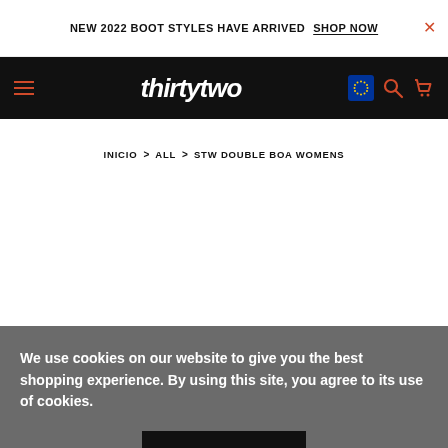NEW 2022 BOOT STYLES HAVE ARRIVED  SHOP NOW
[Figure (logo): ThirtyTwo snowboard brand logo in white italic bold font on black background, with hamburger menu icon in orange on left, and EU flag, search and cart icons on right]
INICIO > ALL > STW DOUBLE BOA WOMENS
We use cookies on our website to give you the best shopping experience. By using this site, you agree to its use of cookies.
I agree